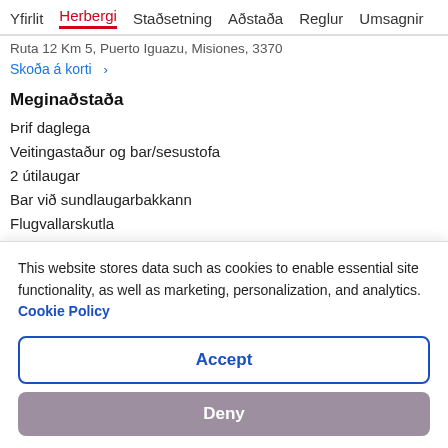Yfirlit  Herbergi  Staðsetning  Aðstaða  Reglur  Umsagnir
Ruta 12 Km 5, Puerto Iguazu, Misiones, 3370
Skoða á korti  >
Meginaðstaða
Þrif daglega
Veitingastaður og bar/sesustofa
2 útilaugar
Bar við sundlaugarbakkann
Flugvallarskutla
Verönd
This website stores data such as cookies to enable essential site functionality, as well as marketing, personalization, and analytics. Cookie Policy
Accept
Deny